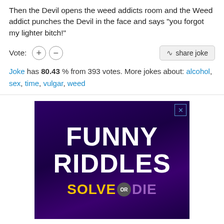Then the Devil opens the weed addicts room and the Weed addict punches the Devil in the face and says "you forgot my lighter bitch!"
Vote: (+) (-) [share joke button]
Joke has 80.43 % from 393 votes. More jokes about: alcohol, sex, time, vulgar, weed
[Figure (infographic): Purple gradient advertisement banner with bold white text reading FUNNY RIDDLES and colorful bottom text SOLVE OR DIE]